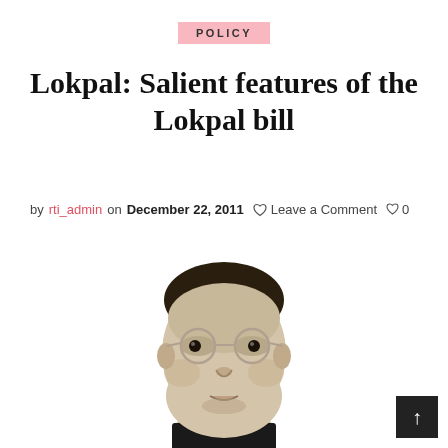POLICY
Lokpal: Salient features of the Lokpal bill
by rti_admin on December 22, 2011  Leave a Comment  0
[Figure (illustration): Stylized vector illustration of a man wearing round glasses, depicted in muted beige and tan tones, cropped at shoulders, facing slightly to the right.]